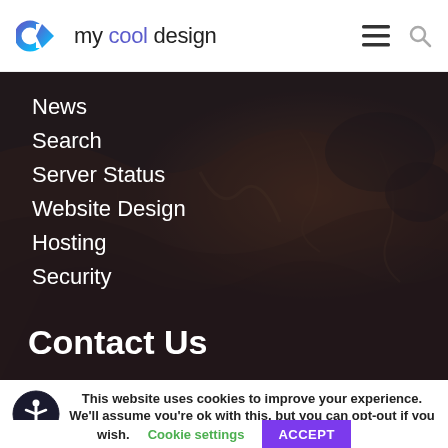my cool design
News
Search
Server Status
Website Design
Hosting
Security
Contact Us
This website uses cookies to improve your experience. We'll assume you're ok with this, but you can opt-out if you wish.
Cookie settings
ACCEPT